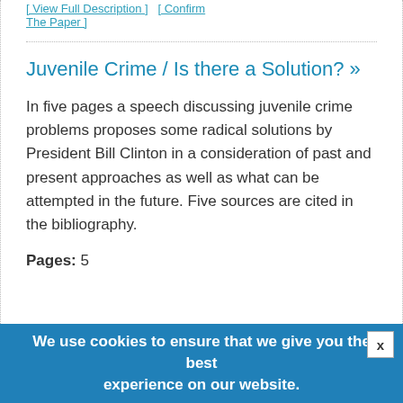[ View Full Description ] [ Confirm The Paper ]
Juvenile Crime / Is there a Solution? »
In five pages a speech discussing juvenile crime problems proposes some radical solutions by President Bill Clinton in a consideration of past and present approaches as well as what can be attempted in the future. Five sources are cited in the bibliography.
Pages: 5
We use cookies to ensure that we give you the best experience on our website.